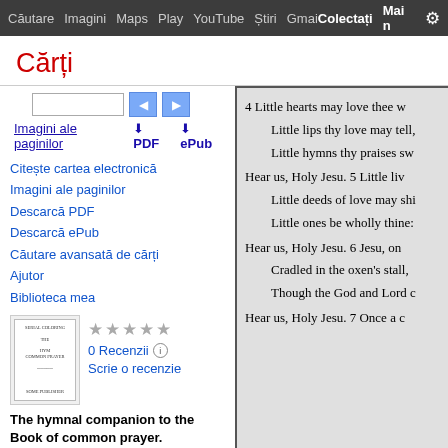Căutare  Imagini  Maps  Play  YouTube  Știri  Gmail  Colectați  Mai multe  [settings]
Cărți
Citește cartea electronică
Imagini ale paginilor
Descarcă PDF
Descarcă ePub
Căutare avansată de cărți
Ajutor
Biblioteca mea
[Figure (illustration): Small book cover thumbnail for 'The hymnal companion to the Book of common prayer']
0 Recenzii
Scrie o recenzie
The hymnal companion to the Book of common prayer. Annotated ed., by E.H
4 Little hearts may love thee w
    Little lips thy love may tell,
    Little hymns thy praises sw
Hear us, Holy Jesu. 5 Little liv
    Little deeds of love may shi
    Little ones be wholly thine:
Hear us, Holy Jesu. 6 Jesu, on
    Cradled in the oxen's stall,
    Though the God and Lord c
Hear us, Holy Jesu. 7 Once a c
Imagini ale paginilor   ⬇ PDF   ⬇ ePub